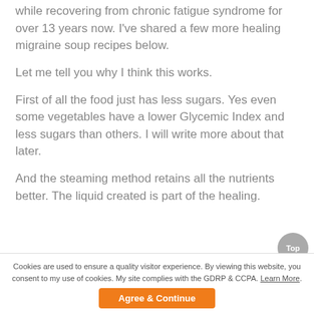while recovering from chronic fatigue syndrome for over 13 years now. I've shared a few more healing migraine soup recipes below.
Let me tell you why I think this works.
First of all the food just has less sugars. Yes even some vegetables have a lower Glycemic Index and less sugars than others. I will write more about that later.
And the steaming method retains all the nutrients better. The liquid created is part of the healing.
Cookies are used to ensure a quality visitor experience. By viewing this website, you consent to my use of cookies. My site complies with the GDRP & CCPA. Learn More. Agree & Continue